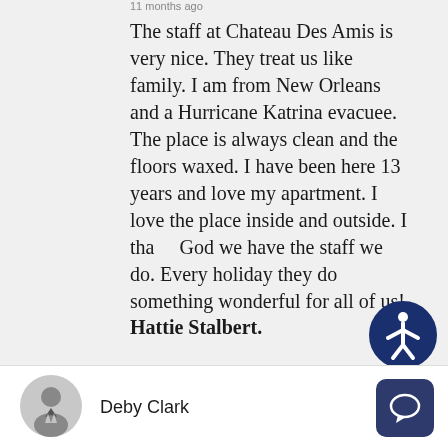11 months ago
The staff at Chateau Des Amis is very nice. They treat us like family. I am from New Orleans and a Hurricane Katrina evacuee. The place is always clean and the floors waxed. I have been here 13 years and love my apartment. I love the place inside and outside. I thank God we have the staff we do. Every holiday they do something wonderful for all of us!
Hattie Stalbert.
Deby Clark